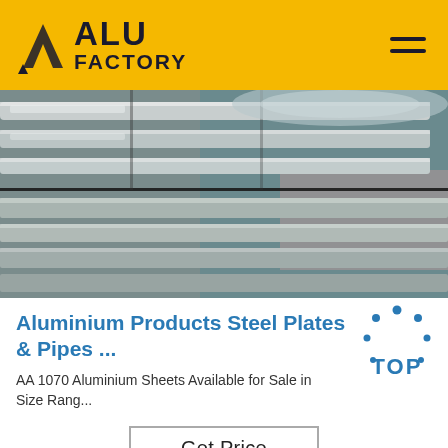ALU FACTORY
[Figure (photo): Stacked aluminium strip coils/rolls showing shiny metallic surfaces with silver and slight pinkish-blue tones, stored in a warehouse or factory setting.]
Aluminium Products Steel Plates & Pipes ...
AA 1070 Aluminium Sheets Available for Sale in Size Rang...
[Figure (logo): TOP badge logo with blue dots arranged in a circle and the word TOP in blue text]
Get Price